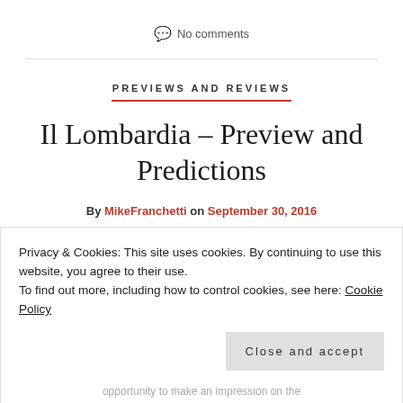💬 No comments
PREVIEWS AND REVIEWS
Il Lombardia – Preview and Predictions
By MikeFranchetti on September 30, 2016
Privacy & Cookies: This site uses cookies. By continuing to use this website, you agree to their use.
To find out more, including how to control cookies, see here: Cookie Policy
Close and accept
opportunity to make an impression on the